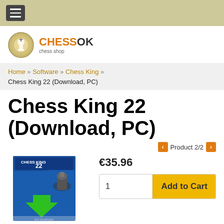Navigation menu bar
[Figure (logo): ChessOK chess shop logo with chess piece icon]
Home » Software » Chess King » Chess King 22 (Download, PC)
Chess King 22 (Download, PC)
Product 2/2
[Figure (photo): Chess King 22 product box with download arrow]
€35.96
1   Add to Cart